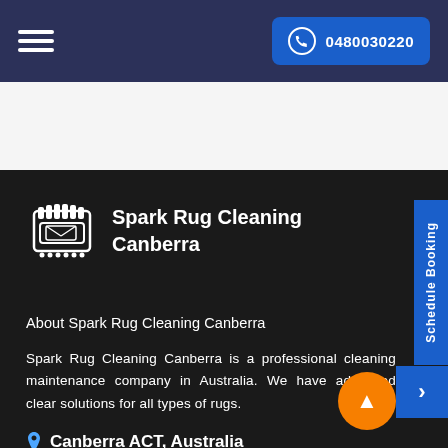0480030220
[Figure (logo): Spark Rug Cleaning Canberra logo with rug cleaning machine icon]
Spark Rug Cleaning Canberra
About Spark Rug Cleaning Canberra
Spark Rug Cleaning Canberra is a professional cleaning maintenance company in Australia. We have advanced cleaning solutions for all types of rugs.
Canberra ACT, Australia